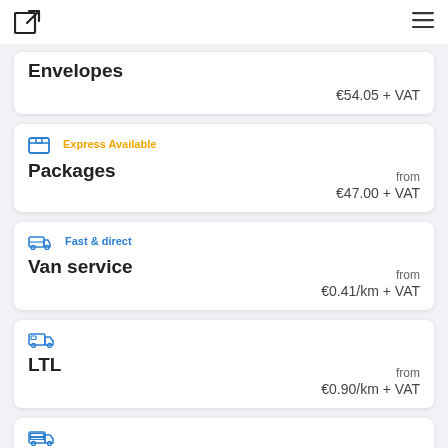navigation header with logo and menu icon
Envelopes  €54.05 + VAT
Express Available
Packages  from €47.00 + VAT
Fast & direct
Van service  from €0.41/km + VAT
LTL  from €0.90/km + VAT
FTL  from €0.90/km + VAT